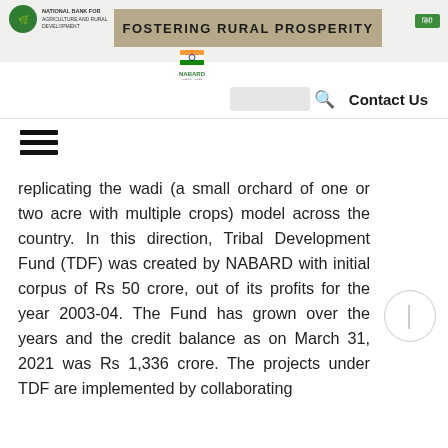FOSTERING RURAL PROSPERITY
[Figure (logo): NABARD logo with text and Indian flag motif]
Contact Us
replicating the wadi (a small orchard of one or two acre with multiple crops) model across the country. In this direction, Tribal Development Fund (TDF) was created by NABARD with initial corpus of Rs 50 crore, out of its profits for the year 2003-04. The Fund has grown over the years and the credit balance as on March 31, 2021 was Rs 1,336 crore. The projects under TDF are implemented by collaborating